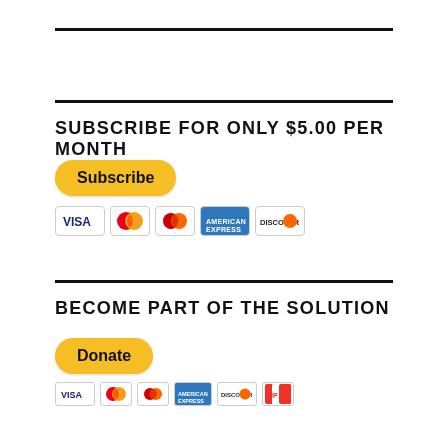SUBSCRIBE FOR ONLY $5.00 PER MONTH
[Figure (other): PayPal Subscribe button with payment card logos (Visa, Mastercard, Masterpass, AmEx, Discover)]
BECOME PART OF THE SOLUTION
[Figure (other): PayPal Donate button with payment card logos (Visa, Mastercard, Masterpass, AmEx, Discover, UnionPay)]